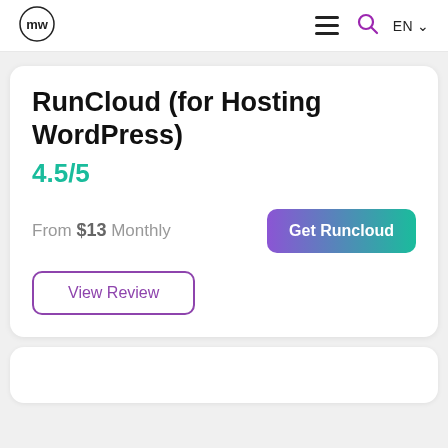MW logo | hamburger menu | search icon | EN
RunCloud (for Hosting WordPress)
4.5/5
From $13 Monthly
Get Runcloud
View Review